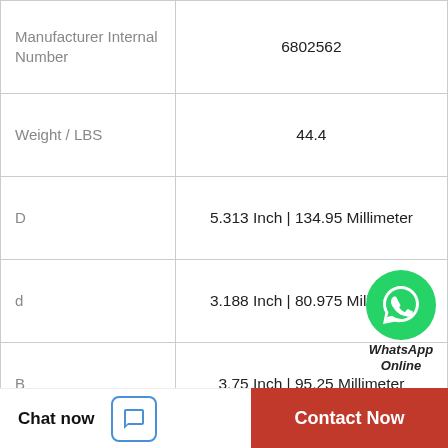| Property | Value |
| --- | --- |
| Manufacturer Internal Number | 6802562 |
| Weight / LBS | 44.4 |
| D | 5.313 Inch | 134.95 Millimeter |
| d | 3.188 Inch | 80.975 Millimeter |
| B | 3.75 Inch | 95.25 Millimeter |
| Nominal Bolt Center to Center | 10 Inch | 254 Millimeter |
| Bolt Spacing Minimum | 0 Inch | 0Millimeter |
[Figure (logo): WhatsApp green circle icon with phone handset, labeled WhatsApp Online]
Chat now
Contact Now